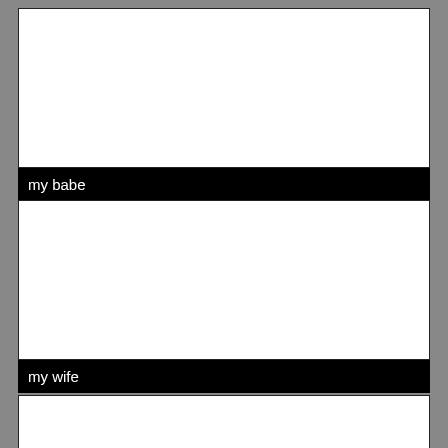[Figure (photo): Empty white rectangle, first card]
my babe
[Figure (photo): Empty white rectangle, second card]
my wife
[Figure (photo): Empty white rectangle, third card (partial)]